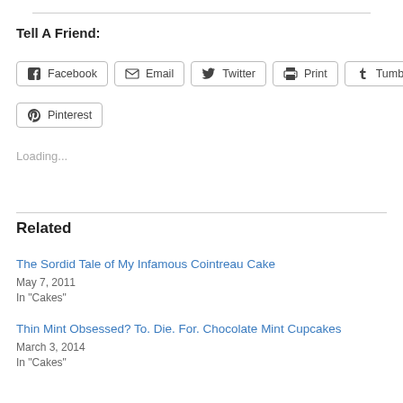Tell A Friend:
Facebook  Email  Twitter  Print  Tumblr  Pinterest
Loading...
Related
The Sordid Tale of My Infamous Cointreau Cake
May 7, 2011
In "Cakes"
Thin Mint Obsessed? To. Die. For. Chocolate Mint Cupcakes
March 3, 2014
In "Cakes"